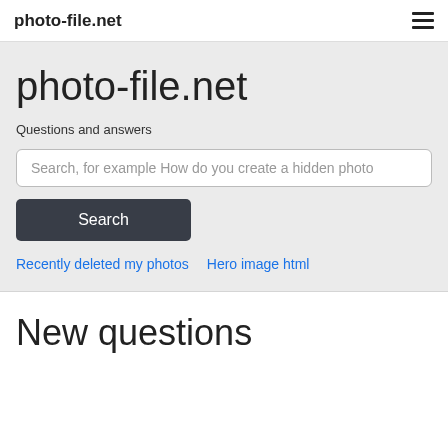photo-file.net
photo-file.net
Questions and answers
Search, for example How do you create a hidden photo
Search
Recently deleted my photos
Hero image html
New questions